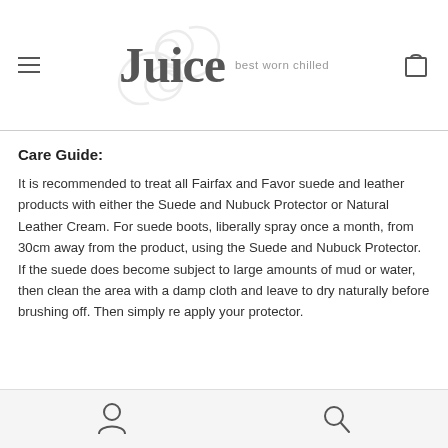Juice — best worn chilled
Care Guide:
It is recommended to treat all Fairfax and Favor suede and leather products with either the Suede and Nubuck Protector or Natural Leather Cream. For suede boots, liberally spray once a month, from 30cm away from the product, using the Suede and Nubuck Protector. If the suede does become subject to large amounts of mud or water, then clean the area with a damp cloth and leave to dry naturally before brushing off. Then simply re apply your protector.